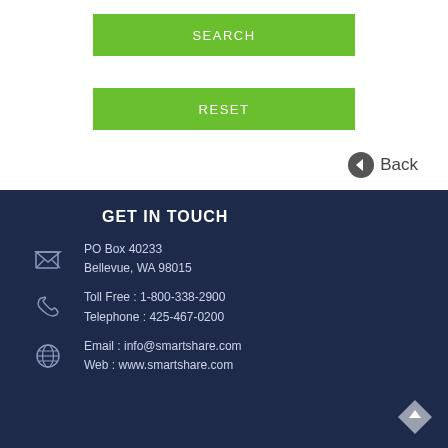SEARCH
RESET
Back
GET IN TOUCH
PO Box 40233
Bellevue, WA 98015
Toll Free : 1-800-338-2900
Telephone : 425-467-0200
Email : info@smartshare.com
Web : www.smartshare.com